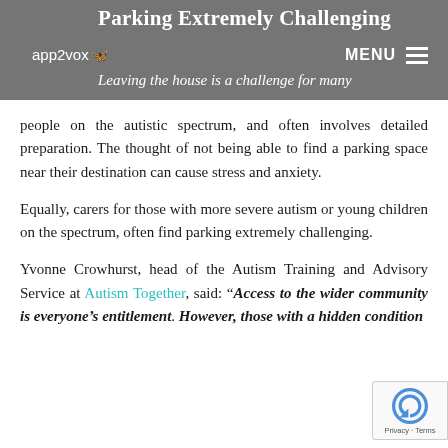Parking Extremely Challenging
Leaving the house is a challenge for many people on the autistic spectrum, and often involves detailed preparation. The thought of not being able to find a parking space near their destination can cause stress and anxiety.
Equally, carers for those with more severe autism or young children on the spectrum, often find parking extremely challenging.
Yvonne Crowhurst, head of the Autism Training and Advisory Service at Autism Together, said: “Access to the wider community is everyone’s entitlement. However, those with a hidden condition